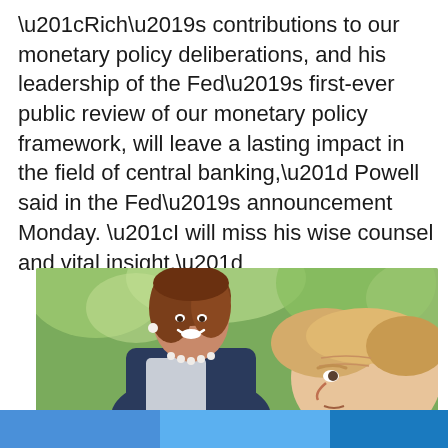“Rich’s contributions to our monetary policy deliberations, and his leadership of the Fed’s first-ever public review of our monetary policy framework, will leave a lasting impact in the field of central banking,” Powell said in the Fed’s announcement Monday. “I will miss his wise counsel and vital insight.”
[Figure (photo): Photo of a woman with brown hair smiling and leaning toward a man with blonde hair, both outdoors with green trees in the background.]